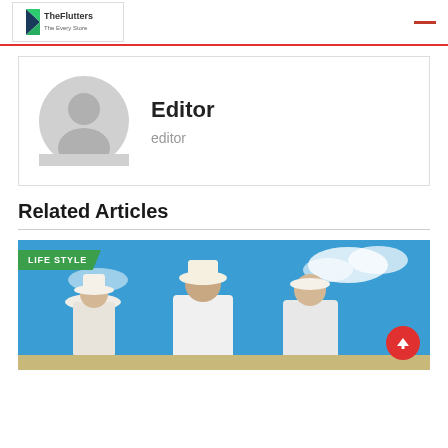TheFlutters
[Figure (illustration): Author profile card with generic grey avatar silhouette, bold name 'Editor', and username 'editor']
Editor
editor
Related Articles
[Figure (photo): Outdoor lifestyle photo showing people in white clothing and hats against blue sky with clouds. Green 'LIFE STYLE' badge overlay in top-left corner. Red scroll-to-top button in bottom-right.]